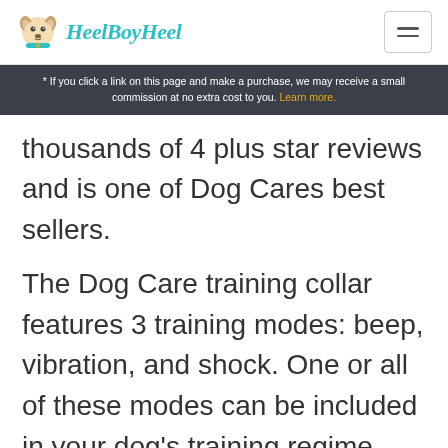HeelBoyHeel
* If you click a link on this page and make a purchase, we may receive a small commission at no extra cost to you. Learn more.
thousands of 4 plus star reviews and is one of Dog Cares best sellers.
The Dog Care training collar features 3 training modes: beep, vibration, and shock. One or all of these modes can be included in your dog's training regime. They're great for teaching the most unruly dogs how to behave.